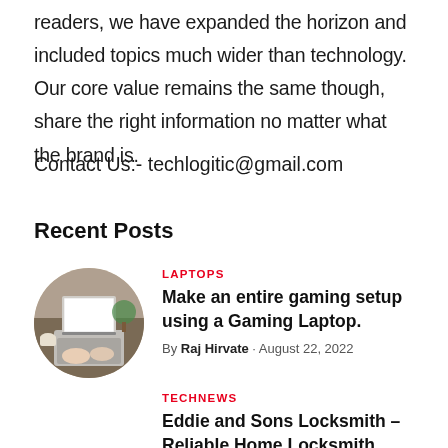readers, we have expanded the horizon and included topics much wider than technology. Our core value remains the same though, share the right information no matter what the brand is.
Contact Us:- techlogitic@gmail.com
Recent Posts
[Figure (photo): Circular thumbnail photo of a person using a laptop on a wooden desk, viewed from above, with a plant in the background.]
LAPTOPS
Make an entire gaming setup using a Gaming Laptop.
By Raj Hirvate · August 22, 2022
TECHNEWS
Eddie and Sons Locksmith – Reliable Home Locksmith